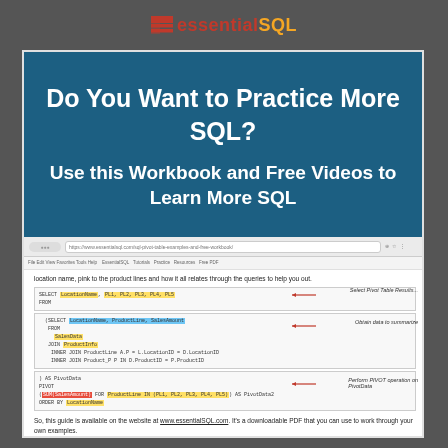essentialSQL
Do You Want to Practice More SQL?
Use this Workbook and Free Videos to Learn More SQL
[Figure (screenshot): Screenshot of essentialSQL website showing SQL code with highlighted syntax and annotations: 'Select Pivot Table Results...', 'Obtain data to summarize', 'Perform PIVOT operation on PivotData']
So, this guide is available on the website at www.essentialSQL.com. It's a downloadable PDF that you can use to work through your own examples.